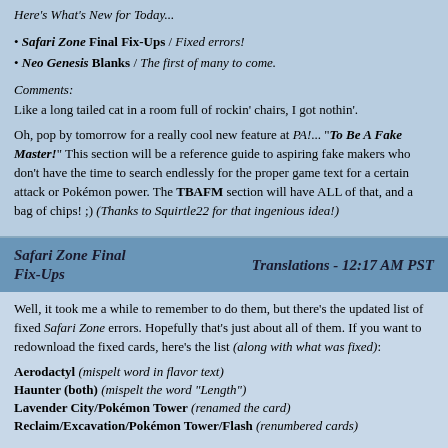Here's What's New for Today...
Safari Zone Final Fix-Ups / Fixed errors!
Neo Genesis Blanks / The first of many to come.
Comments:
Like a long tailed cat in a room full of rockin' chairs, I got nothin'.
Oh, pop by tomorrow for a really cool new feature at PA!... "To Be A Fake Master!" This section will be a reference guide to aspiring fake makers who don't have the time to search endlessly for the proper game text for a certain attack or Pokémon power. The TBAFM section will have ALL of that, and a bag of chips! ;) (Thanks to Squirtle22 for that ingenious idea!)
Safari Zone Final Fix-Ups | Translations - 12:17 AM PST
Well, it took me a while to remember to do them, but there's the updated list of fixed Safari Zone errors. Hopefully that's just about all of them. If you want to redownload the fixed cards, here's the list (along with what was fixed):
Aerodactyl (mispelt word in flavor text)
Haunter (both) (mispelt the word "Length")
Lavender City/Pokémon Tower (renamed the card)
Reclaim/Excavation/Pokémon Tower/Flash (renumbered cards)